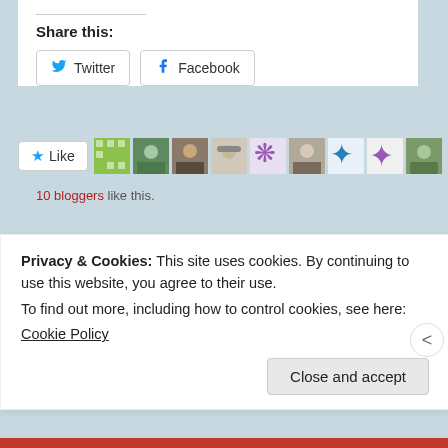Share this:
Twitter
Facebook
[Figure (screenshot): Like button with star icon and row of blogger avatars]
10 bloggers like this.
Tourists with Chinese characteristics: bashful backpackers
October 24, 2020
In "Fictional
Please take my picture
June 3, 2019
In "Chinese peculiarities"
Privacy & Cookies: This site uses cookies. By continuing to use this website, you agree to their use.
To find out more, including how to control cookies, see here:
Cookie Policy
Close and accept